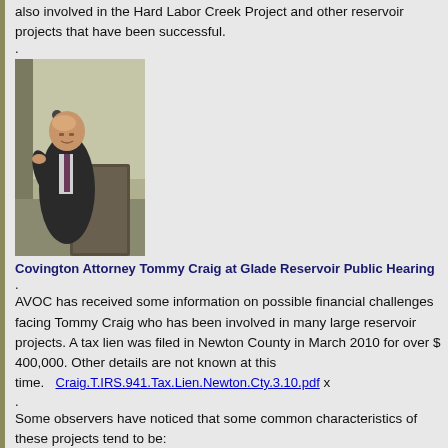also involved in the Hard Labor Creek Project and other reservoir projects that have been successful.
[Figure (photo): Photo of Covington Attorney Tommy Craig speaking at a podium/lectern at the Glade Reservoir Public Hearing]
Covington Attorney Tommy Craig at Glade Reservoir Public Hearing
AVOC has received some information on possible financial challenges facing Tommy Craig who has been involved in many large reservoir projects. A tax lien was filed in Newton County in March 2010 for over $ 400,000. Other details are not known at this time.
Some observers have noticed that some common characteristics of these projects tend to be:
Starts out small but grows in size along with costs. Costs also start low and often and up considerably